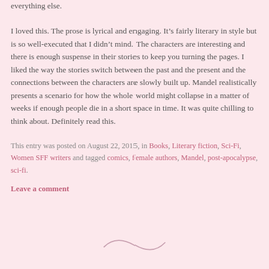everything else.
I loved this. The prose is lyrical and engaging. It’s fairly literary in style but is so well-executed that I didn’t mind. The characters are interesting and there is enough suspense in their stories to keep you turning the pages. I liked the way the stories switch between the past and the present and the connections between the characters are slowly built up. Mandel realistically presents a scenario for how the whole world might collapse in a matter of weeks if enough people die in a short space in time. It was quite chilling to think about. Definitely read this.
This entry was posted on August 22, 2015, in Books, Literary fiction, Sci-Fi, Women SFF writers and tagged comics, female authors, Mandel, post-apocalypse, sci-fi.
Leave a comment